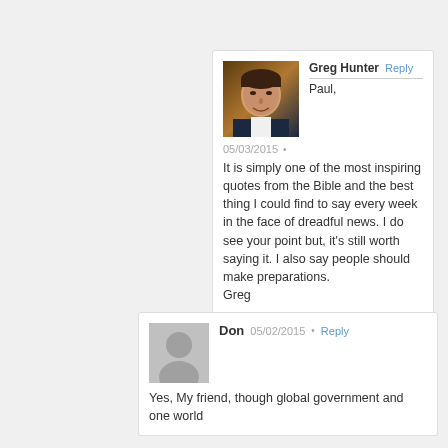[Figure (photo): Profile photo of Greg Hunter, a man in a suit smiling]
Greg Hunter  Reply
——————————————
Paul,
05/03/2015 •
It is simply one of the most inspiring quotes from the Bible and the best thing I could find to say every week in the face of dreadful news. I do see your point but, it's still worth saying it. I also say people should make preparations.
Greg
[Figure (illustration): Generic grey avatar placeholder for Don]
Don  05/02/2015 •  Reply
Yes, My friend, though global government and one world